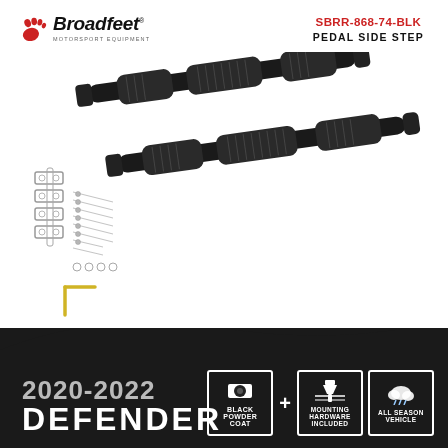[Figure (logo): Broadfeet Motorsport Equipment logo with red footprint icon and italic brand name]
SBRR-868-74-BLK
PEDAL SIDE STEP
[Figure (photo): Black pedal side steps (pair) with mounting hardware components displayed on white background]
2020-2022
DEFENDER
[Figure (infographic): Three feature icons: BLACK POWDER COAT, MOUNTING HARDWARE (included), ALL SEASON VEHICLE]